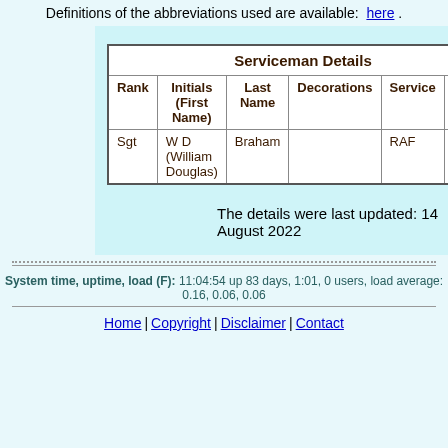Definitions of the abbreviations used are available: here .
| Rank | Initials (First Name) | Last Name | Decorations | Service | Serv. No. |
| --- | --- | --- | --- | --- | --- |
| Sgt | W D (William Douglas) | Braham |  | RAF | 13963... |
The details were last updated: 14 August 2022
System time, uptime, load (F): 11:04:54 up 83 days, 1:01, 0 users, load average: 0.16, 0.06, 0.06
Home | Copyright | Disclaimer | Contact